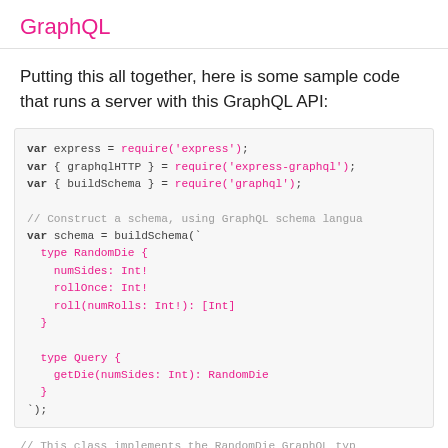GraphQL
Putting this all together, here is some sample code that runs a server with this GraphQL API:
[Figure (screenshot): Code block showing JavaScript code: var express = require('express'); var { graphqlHTTP } = require('express-graphql'); var { buildSchema } = require('graphql'); // Construct a schema, using GraphQL schema language var schema = buildSchema(`  type RandomDie {    numSides: Int!    rollOnce: Int!    roll(numRolls: Int!): [Int]  }  type Query {    getDie(numSides: Int): RandomDie  }`);]
// This class implements the RandomDie GraphQL type
class RandomDie {